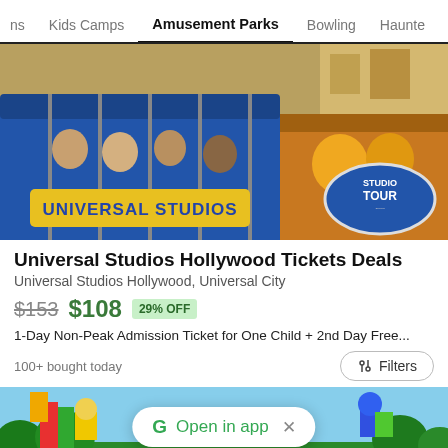ns   Kids Camps   Amusement Parks   Bowling   Haunte
[Figure (photo): Universal Studios Hollywood tram tour with riders seated in blue tram car showing 'UNIVERSAL STUDIOS' text, and 'STUDIO TOUR' badge visible on right side]
Universal Studios Hollywood Tickets Deals
Universal Studios Hollywood, Universal City
$153  $108  29% OFF
1-Day Non-Peak Admission Ticket for One Child + 2nd Day Free...
100+ bought today
[Figure (photo): LEGOLAND colorful entrance with LEGO brick characters, trees in background, and LEGOLAND sign at bottom. 'Open in app' Google banner overlaid on top.]